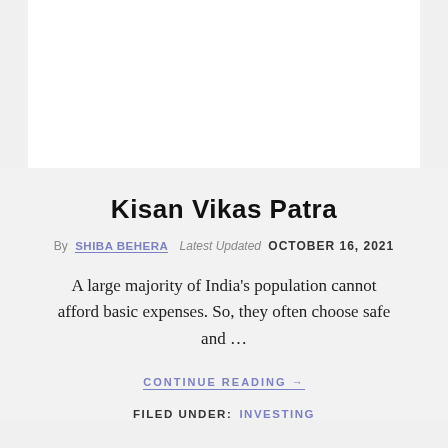[Figure (photo): White rectangle image area at top of page, cropped article image]
Kisan Vikas Patra
By SHIBA BEHERA Latest Updated OCTOBER 16, 2021
A large majority of India's population cannot afford basic expenses. So, they often choose safe and …
CONTINUE READING →
FILED UNDER: INVESTING